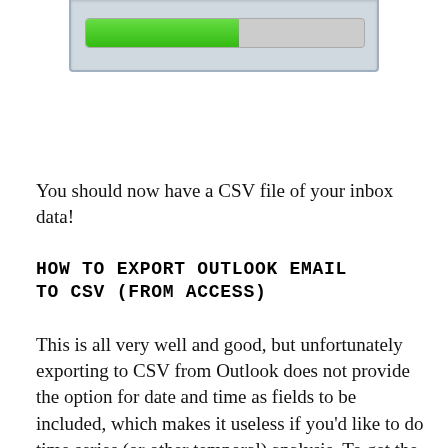[Figure (screenshot): Partial screenshot of a progress bar dialog window showing a green progress bar approximately 55% complete on a gray background, with a silver/blue border frame.]
You should now have a CSV file of your inbox data!
HOW TO EXPORT OUTLOOK EMAIL TO CSV (FROM ACCESS)
This is all very well and good, but unfortunately exporting to CSV from Outlook does not provide the option for date and time as fields to be included, which makes it useless if you'd like to do time series (or other temporal) analysis. To get the date and time data you can pull data from Outlook into Access and then export it as noted in this metafilter thread.